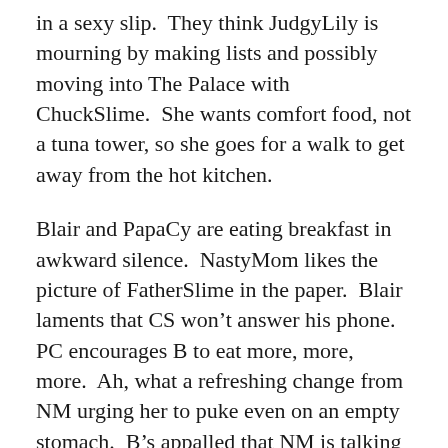in a sexy slip.  They think JudgyLily is mourning by making lists and possibly moving into The Palace with ChuckSlime.  She wants comfort food, not a tuna tower, so she goes for a walk to get away from the hot kitchen.
Blair and PapaCy are eating breakfast in awkward silence.  NastyMom likes the picture of FatherSlime in the paper.  Blair laments that CS won't answer his phone.  PC encourages B to eat more, more, more.  Ah, what a refreshing change from NM urging her to puke even on an empty stomach.  B's appalled that NM is talking about her honeymoon, but PC explains that in death there's life, or something to that affect.
DownerDan arrives at SS's to check on her while she wears excessive jewelry around her neck.  She thanks him for being a rock since FS passed